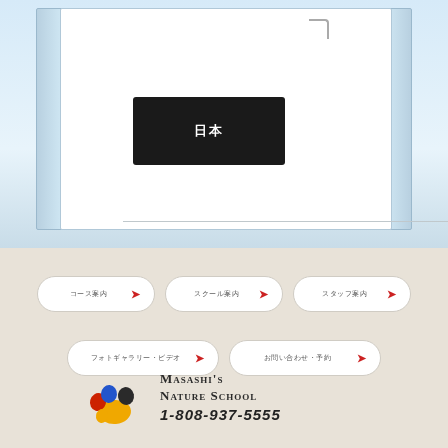[Figure (screenshot): Top portion showing a white panel/window UI element with a black display box containing Japanese/CJK characters, set against a light blue background with side panels]
[Figure (infographic): Navigation buttons row 1: three pill-shaped buttons with CJK text and red arrows]
[Figure (infographic): Navigation buttons row 2: two pill-shaped buttons with CJK text and red arrows]
[Figure (logo): Masashi's Nature School logo with colorful paw print and text: MASASHI'S NATURE SCHOOL 1-808-937-5555]